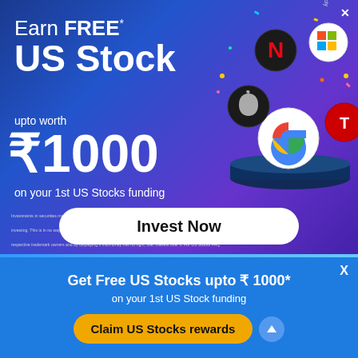Earn FREE* US Stock
upto worth ₹1000
on your 1st US Stocks funding
Investments in securities market are subject to market risk, read all the related documents carefully before investing. This is in no way to be considered as an advice or recommendation. Logos above are the property of respective trademark owners and by displaying it INDmoney has no right, title, interest over it. For US Stocks FAQ visit https://www.indmoney.com/us-stocks. Please be informed that US stocks are not Indian Exchange traded funds and Progressus Services Private Limited acts in the capacity of facilitator of this product. All disputes with respect to the transaction facilitation services, would not have access to exchange investor redressal forum or arbitration mechanism in India.
[Figure (illustration): Company stock logos (Netflix, Microsoft, Apple, Google, Tesla) floating above a dark podium platform]
Invest Now
Get Free US Stocks upto ₹ 1000*
on your 1st US Stock funding
Claim US Stocks rewards
*T&C Apply